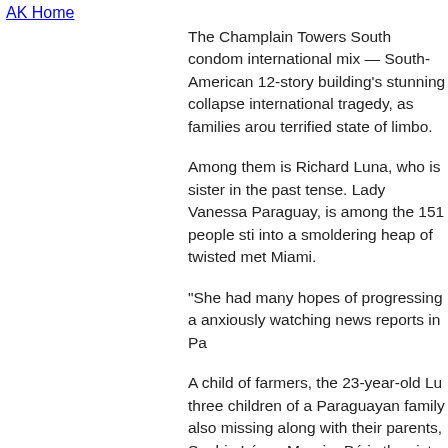AK Home
The Champlain Towers South condom international mix — South-American 12-story building's stunning collapse international tragedy, as families arou terrified state of limbo.
Among them is Richard Luna, who is sister in the past tense. Lady Vanessa Paraguay, is among the 151 people sti into a smoldering heap of twisted met Miami.
"She had many hopes of progressing a anxiously watching news reports in Pa
A child of farmers, the 23-year-old Lu three children of a Paraguayan family also missing along with their parents, Sophia López Moreira Bó is the sister lady flew to Miami.
Officials last Friday weren't sure exac building at the time. A clearer picture news reports: Israeli media said the co believed that 20 citizens of that countr